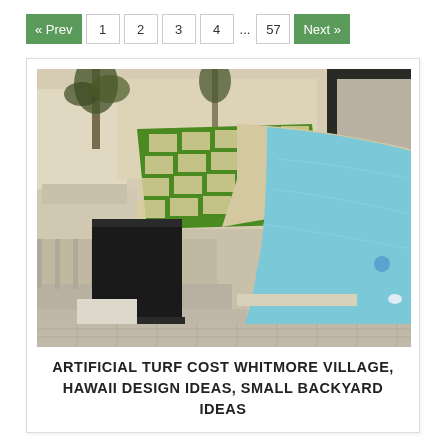« Prev  1  2  3  4  ...  57  Next »
[Figure (photo): Outdoor backyard scene showing a swimming pool with blue water, a pathway made of stepping stones set in artificial green turf, palm trees and white building walls in the background, and a black covered outdoor appliance or speaker in the foreground.]
ARTIFICIAL TURF COST WHITMORE VILLAGE, HAWAII DESIGN IDEAS, SMALL BACKYARD IDEAS